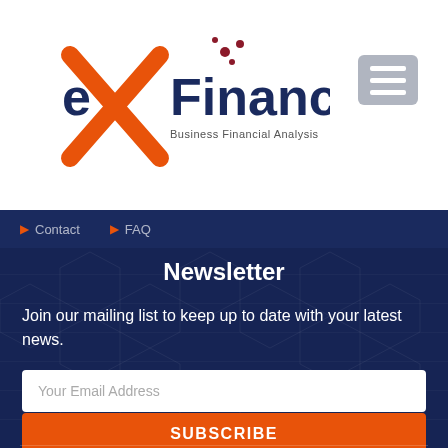[Figure (logo): eX Financial logo with red X graphic and text 'eX Financial Business Financial Analysis']
[Figure (other): Hamburger menu icon (three horizontal lines) in a grey rounded rectangle]
Contact   FAQ
Newsletter
Join our mailing list to keep up to date with your latest news.
Your Email Address
SUBSCRIBE